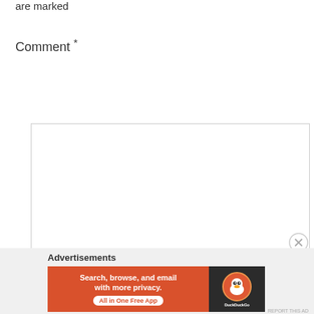are marked
Comment *
[Figure (screenshot): Empty comment text area input box with resize handle]
[Figure (screenshot): Close (X) button circle]
Advertisements
[Figure (infographic): DuckDuckGo advertisement banner: 'Search, browse, and email with more privacy. All in One Free App' with DuckDuckGo logo on dark background]
REPORT THIS AD